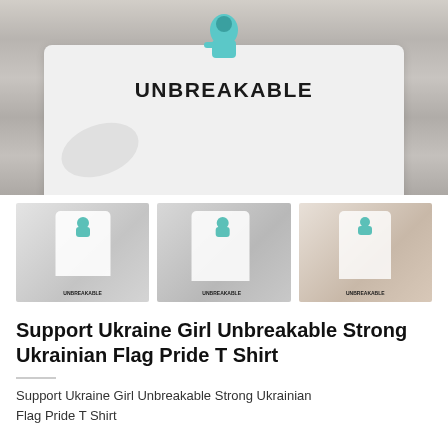[Figure (photo): Main product photo of a white folded sweatshirt/t-shirt on a wood surface with 'UNBREAKABLE' text and teal graphic printed on it]
[Figure (photo): Three thumbnail product photos showing the Ukraine Girl Unbreakable shirt worn in different poses]
Support Ukraine Girl Unbreakable Strong Ukrainian Flag Pride T Shirt
Support Ukraine Girl Unbreakable Strong Ukrainian Flag Pride T Shirt